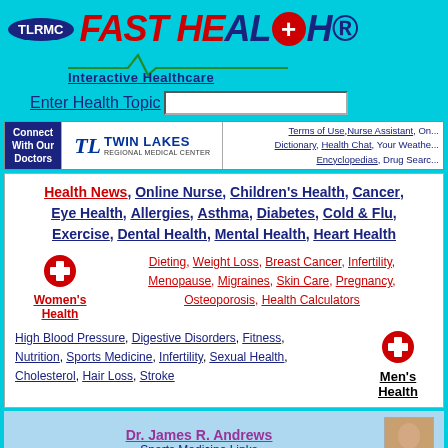TLRMC FAST HEALTH Interactive Healthcare
Enter Health Topic
Connect With Our Doctors | Twin Lakes Regional Medical Center | Terms of Use, Nurse Assistant, On... Dictionary, Health Chat, Your Weathe... Encyclopedias, Drug Searc...
Health News, Online Nurse, Children's Health, Cancer, Eye Health, Allergies, Asthma, Diabetes, Cold & Flu, Exercise, Dental Health, Mental Health, Heart Health
Women's Health: Dieting, Weight Loss, Breast Cancer, Infertility, Menopause, Migraines, Skin Care, Pregnancy, Osteoporosis, Health Calculators
High Blood Pressure, Digestive Disorders, Fitness, Nutrition, Sports Medicine, Infertility, Sexual Health, Cholesterol, Hair Loss, Stroke
Men's Health
Dr. James R. Andrews - Sports Medicine Links